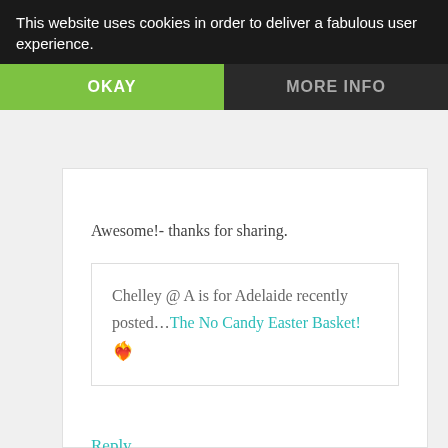This website uses cookies in order to deliver a fabulous user experience.
OKAY
MORE INFO
Awesome!- thanks for sharing.
Chelley @ A is for Adelaide recently posted...The No Candy Easter Basket! ❧
Reply